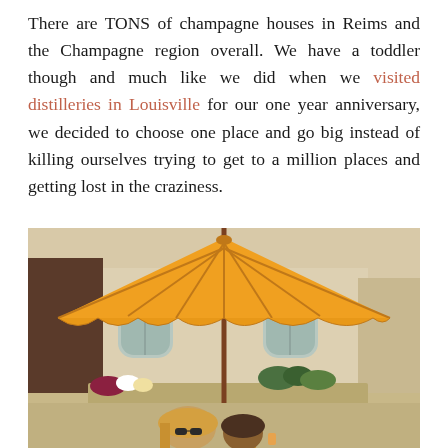There are TONS of champagne houses in Reims and the Champagne region overall. We have a toddler though and much like we did when we visited distilleries in Louisville for our one year anniversary, we decided to choose one place and go big instead of killing ourselves trying to get to a million places and getting lost in the craziness.
[Figure (photo): Outdoor scene at a champagne house in Reims: a large orange patio umbrella dominates the upper portion, with a beige/cream French building with arched windows in the background. In the foreground, two women sitting outdoors, one with long blonde hair wearing sunglasses, the other partially visible. Flower beds and greenery are visible along a low wall.]